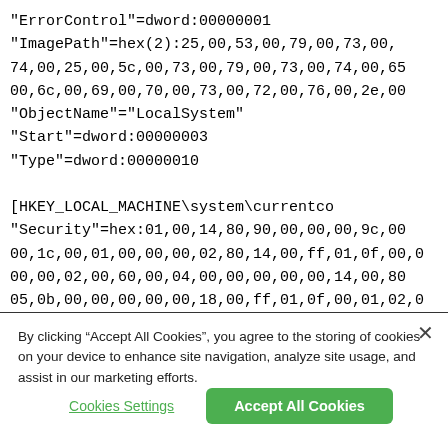"ErrorControl"=dword:00000001
"ImagePath"=hex(2):25,00,53,00,79,00,73,00,
74,00,25,00,5c,00,73,00,79,00,73,00,74,00,65
00,6c,00,69,00,70,00,73,00,72,00,76,00,2e,00
"ObjectName"="LocalSystem"
"Start"=dword:00000003
"Type"=dword:00000010

[HKEY_LOCAL_MACHINE\system\currentco
"Security"=hex:01,00,14,80,90,00,00,00,9c,00
00,1c,00,01,00,00,00,02,80,14,00,ff,01,0f,00,0
00,00,02,00,60,00,04,00,00,00,00,00,14,00,80
05,0b,00,00,00,00,00,18,00,ff,01,0f,00,01,02,0
20,02,00,00,00,00,18,00,8d,00,02,00,01,02,00
02,00,00,00,00,14,00,9d,00,00,00,01,01,00,00
By clicking “Accept All Cookies”, you agree to the storing of cookies on your device to enhance site navigation, analyze site usage, and assist in our marketing efforts.
Cookies Settings
Accept All Cookies